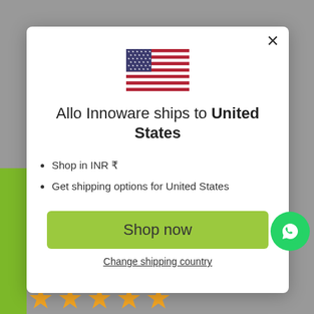[Figure (screenshot): Modal dialog on a website for Allo Innoware showing shipping destination information for United States]
Allo Innoware ships to United States
Shop in INR ₹
Get shipping options for United States
Shop now
Change shipping country